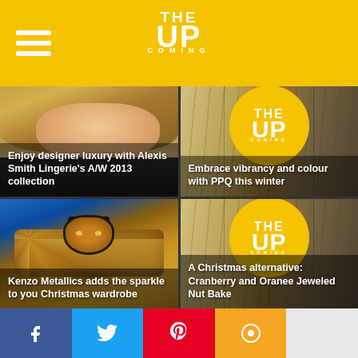THE UPCOMING
[Figure (photo): Blonde female model on white background for Alexis Smith Lingerie article]
Enjoy designer luxury with Alexis Smith Lingerie's A/W 2013 collection
[Figure (photo): Stacked magazines/newspapers in sepia tone with The Upcoming yellow circle logo overlay]
Embrace vibrancy and colour with PPQ this winter
[Figure (photo): Gold metallic Kenzo sweater with tiger face emblem on blue background]
Kenzo Metallics adds the sparkle to you Christmas wardrobe
[Figure (photo): Stacked magazines/newspapers in sepia tone with The Upcoming yellow circle logo overlay]
A Christmas alternative: Cranberry and Oranee Jeweled Nut Bake